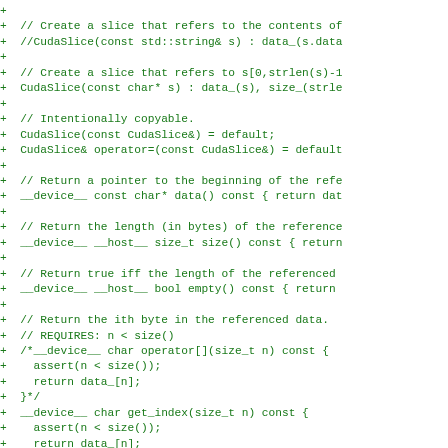Code diff showing CudaSlice class implementation with constructors, data(), size(), empty(), operator[], and get_index() methods